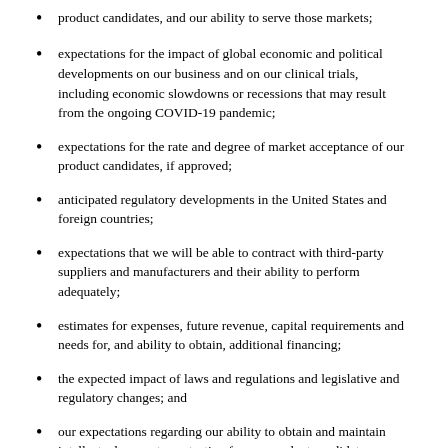product candidates, and our ability to serve those markets;
expectations for the impact of global economic and political developments on our business and on our clinical trials, including economic slowdowns or recessions that may result from the ongoing COVID-19 pandemic;
expectations for the rate and degree of market acceptance of our product candidates, if approved;
anticipated regulatory developments in the United States and foreign countries;
expectations that we will be able to contract with third-party suppliers and manufacturers and their ability to perform adequately;
estimates for expenses, future revenue, capital requirements and needs for, and ability to obtain, additional financing;
the expected impact of laws and regulations and legislative and regulatory changes; and
our expectations regarding our ability to obtain and maintain intellectual property protection for our product candidates.